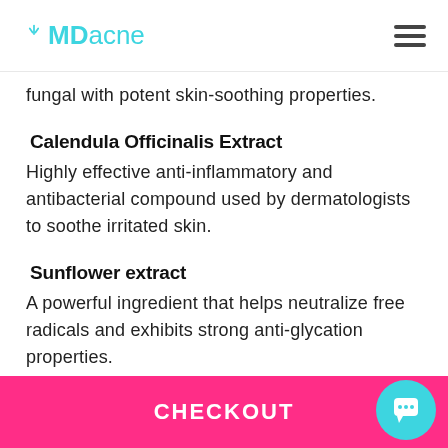MDacne
fungal with potent skin-soothing properties.
Calendula Officinalis Extract
Highly effective anti-inflammatory and antibacterial compound used by dermatologists to soothe irritated skin.
Sunflower extract
A powerful ingredient that helps neutralize free radicals and exhibits strong anti-glycation properties.
Licorice
A pote